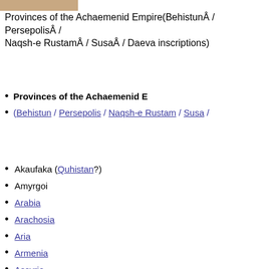Provinces of the Achaemenid Empire(BehistunÂ / PersepolisÂ / Naqsh-e RustamÂ / SusaÂ / Daeva inscriptions)
Provinces of the Achaemenid E…
(Behistun / Persepolis / Naqsh-e Rustam / Susa / …
Akaufaka (Quhistan?)
Amyrgoi
Arabia
Arachosia
Aria
Armenia
Assyria
Babylonia
Bactria
Cappadocia
Caria
Carmania
Chorasmia
Cilicia